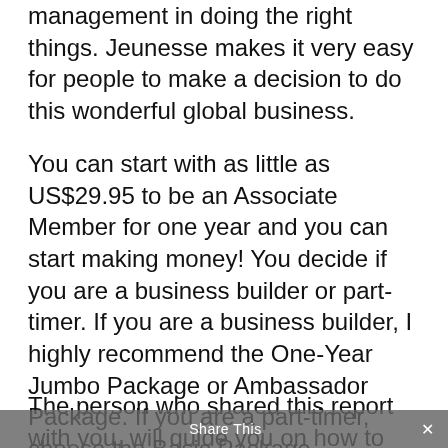management in doing the right things. Jeunesse makes it very easy for people to make a decision to do this wonderful global business.
You can start with as little as US$29.95 to be an Associate Member for one year and you can start making money! You decide if you are a business builder or part-timer. If you are a business builder, I highly recommend the One-Year Jumbo Package or Ambassador Package. If you are a part-timer, choose the Basic Package.
The person who shared this report with you, will guide you on how to start the right way and become the person that